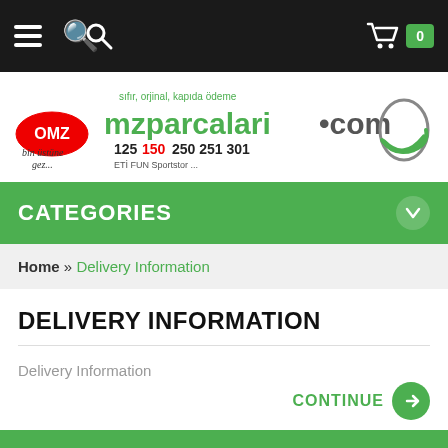Navigation bar with hamburger menu, search icon, and cart with 0 items
[Figure (logo): OMZ mzparcalari.com logo with tagline 'sifir, orjinal, kapida odeme' and 'bin ustune gez...' text]
CATEGORIES
Home » Delivery Information
DELIVERY INFORMATION
Delivery Information
CONTINUE